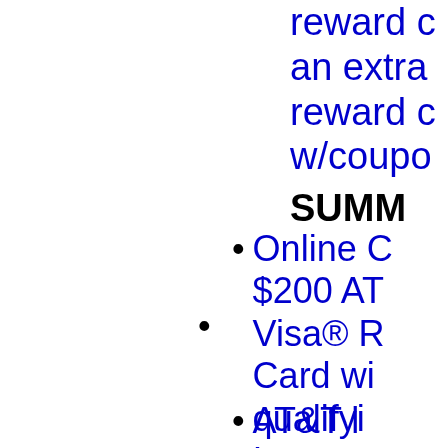reward c an extra reward c w/coupo
SUMM
Online C $200 AT Visa® R Card wi qualify Internet
AT&T l